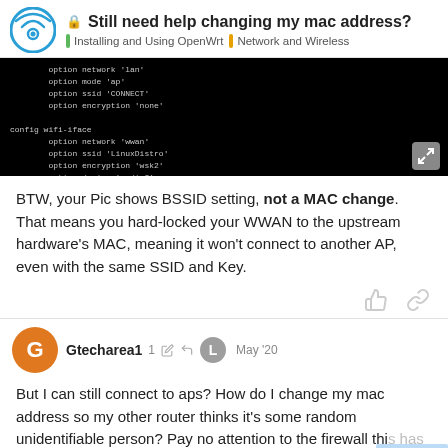Still need help changing my mac address? | Installing and Using OpenWrt | Network and Wireless
[Figure (screenshot): Terminal screenshot showing OpenWrt wireless config with BSSID option set]
BTW, your Pic shows BSSID setting, not a MAC change. That means you hard-locked your WWAN to the upstream hardware's MAC, meaning it won't connect to another AP, even with the same SSID and Key.
Gtecharea1 | 1 edit | May '20
But I can still connect to aps? How do I change my mac address so my other router thinks it's some random unidentifiable person? Pay no attention to the firewall thi... something to say on that too?